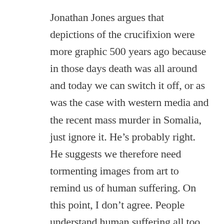Jonathan Jones argues that depictions of the crucifixion were more graphic 500 years ago because in those days death was all around and today we can switch it off, or as was the case with western media and the recent mass murder in Somalia, just ignore it. He's probably right. He suggests we therefore need tormenting images from art to remind us of human suffering. On this point, I don't agree. People understand human suffering all too well. But they don't download a novel or open a book to feel bad. As Stephen King said it is love, not hate, that keeps us reading, following the lives of the characters on the page. BLOOD WILL BE BORN is a tale of vengeance, violence, but also redemption too.